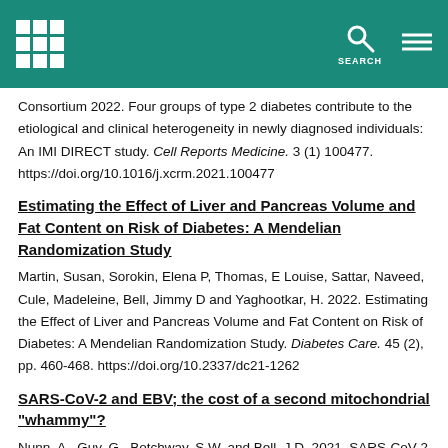SEARCH
Consortium 2022. Four groups of type 2 diabetes contribute to the etiological and clinical heterogeneity in newly diagnosed individuals: An IMI DIRECT study. Cell Reports Medicine. 3 (1) 100477. https://doi.org/10.1016/j.xcrm.2021.100477
Estimating the Effect of Liver and Pancreas Volume and Fat Content on Risk of Diabetes: A Mendelian Randomization Study
Martin, Susan, Sorokin, Elena P, Thomas, E Louise, Sattar, Naveed, Cule, Madeleine, Bell, Jimmy D and Yaghootkar, H. 2022. Estimating the Effect of Liver and Pancreas Volume and Fat Content on Risk of Diabetes: A Mendelian Randomization Study. Diabetes Care. 45 (2), pp. 460-468. https://doi.org/10.2337/dc21-1262
SARS-CoV-2 and EBV; the cost of a second mitochondrial "whammy"?
Nunn, A., Guy, G., Botchway, S.W. and Bell, J.D. 2021. SARS-CoV-2